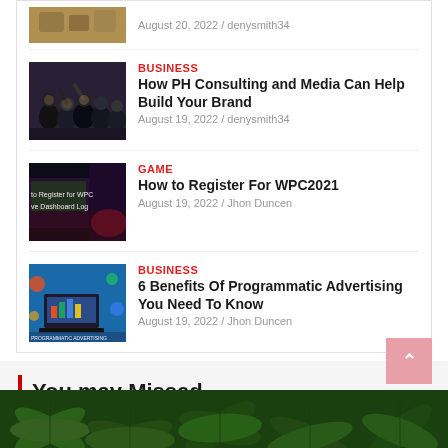[Figure (photo): Partial thumbnail image at top of page, appears to show food or objects, cropped]
August 20, 2022 / denysmith34
BUSINESS
[Figure (photo): Group photo of business people in dark clothing]
How PH Consulting and Media Can Help Build Your Brand
August 19, 2022 / denysmith34
GAME
[Figure (photo): Screenshot showing text 'to Register for WPC ve Dashboard Log' on dark background]
How to Register For WPC2021
August 19, 2022 / Jhon Duncen
BUSINESS
[Figure (photo): Programmatic Advertising illustration with laptop and colorful icons]
6 Benefits Of Programmatic Advertising You Need To Know
August 19, 2022 / Jhon Duncen
You may Missed
[Figure (photo): Green cannabis/marijuana leaves background image]